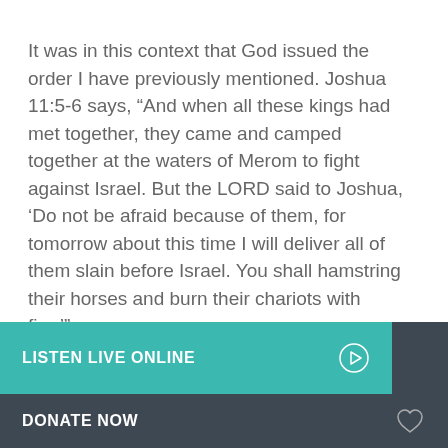It was in this context that God issued the order I have previously mentioned. Joshua 11:5-6 says, “And when all these kings had met together, they came and camped together at the waters of Merom to fight against Israel. But the LORD said to Joshua, ‘Do not be afraid because of them, for tomorrow about this time I will deliver all of them slain before Israel. You shall hamstring their horses and burn their chariots with fire.’”
LISTEN LIVE ONLINE
RECENTLY PLAYED
DONATE NOW